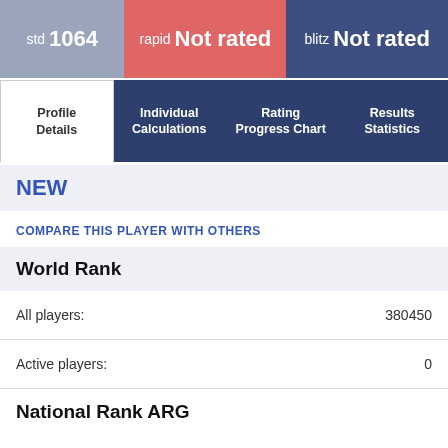std 1064 | rapid Not rated | blitz Not rated
[Figure (screenshot): Navigation tabs: Profile Details, Individual Calculations, Rating Progress Chart, Results Statistics]
NEW
COMPARE THIS PLAYER WITH OTHERS
World Rank
All players: 380450
Active players: 0
National Rank ARG